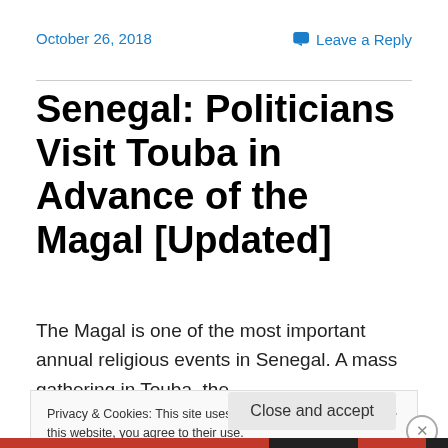October 26, 2018 | Leave a Reply
Senegal: Politicians Visit Touba in Advance of the Magal [Updated]
The Magal is one of the most important annual religious events in Senegal. A mass gathering in Touba, the
Privacy & Cookies: This site uses cookies. By continuing to use this website, you agree to their use.
To find out more, including how to control cookies, see here: Cookie Policy
Close and accept